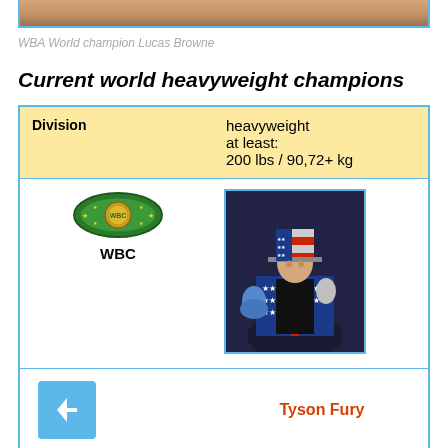[Figure (photo): Partial photo of WBA World champion Lucas Browne, top portion visible at top of page]
WBA World champion Lucas Browne
Current world heavyweight champions
| Division | heavyweight / at least: 200 lbs / 90,72+ kg |
| --- | --- |
| WBC | Tyson Fury [photo of boxer in American flag themed outfit and top hat] |
| [bottom row with back button, belt, and another photo] |  |